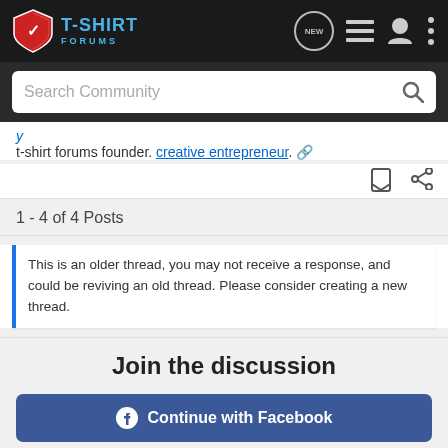T-SHIRT FORUMS
t-shirt forums founder. creative entrepreneur.
1 - 4 of 4 Posts
This is an older thread, you may not receive a response, and could be reviving an old thread. Please consider creating a new thread.
Join the discussion
Continue with Facebook
Continue with Google